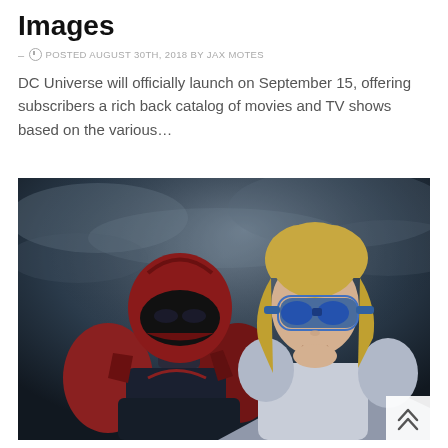Images
- POSTED AUGUST 30TH, 2018 BY JAX MOTES
DC Universe will officially launch on September 15, offering subscribers a rich back catalog of movies and TV shows based on the various…
[Figure (photo): Two superheroes: one wearing a red and black helmet/armor on the left, and a blonde woman wearing blue goggles on the right, set against a dark stormy sky background.]